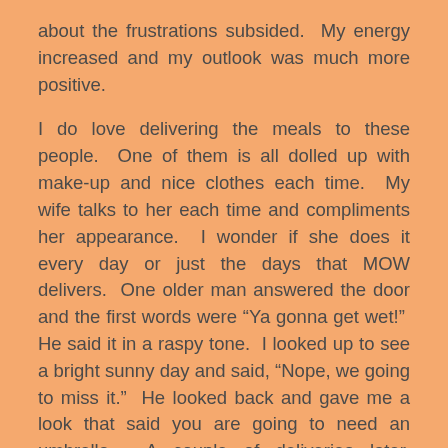about the frustrations subsided.  My energy increased and my outlook was much more positive.
I do love delivering the meals to these people.  One of them is all dolled up with make-up and nice clothes each time.  My wife talks to her each time and compliments her appearance.  I wonder if she does it every day or just the days that MOW delivers.  One older man answered the door and the first words were “Ya gonna get wet!”  He said it in a raspy tone.  I looked up to see a bright sunny day and said, “Nope, we going to miss it.”  He looked back and gave me a look that said you are going to need an umbrella.  A couple of deliveries later, another